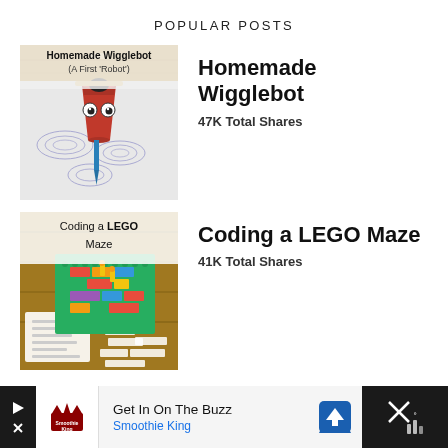POPULAR POSTS
[Figure (photo): Homemade Wigglebot robot made from a red plastic cup with googly eyes, popsicle stick, and markers attached, drawing spiral patterns on paper. Text overlay: 'Homemade Wigglebot (A First Robot)']
Homemade Wigglebot
47K Total Shares
[Figure (photo): LEGO maze coding activity with colorful LEGO bricks arranged on a green baseplate, with coding instruction cards laid out on a wooden table. Text overlay: 'Coding a LEGO Maze']
Coding a LEGO Maze
41K Total Shares
[Figure (other): Advertisement banner: Get In On The Buzz - Smoothie King ad with logo, navigation arrow icon, and close button]